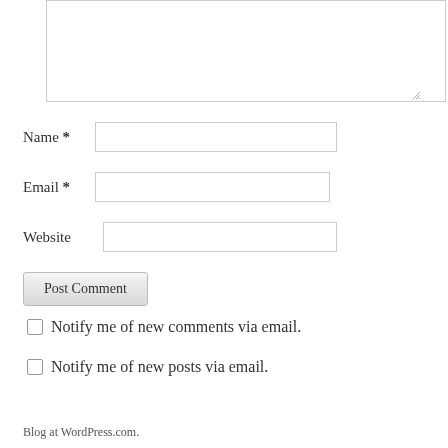[Figure (screenshot): A WordPress comment form textarea (empty text input box) with resize handle at bottom right]
Name *
Email *
Website
Post Comment
Notify me of new comments via email.
Notify me of new posts via email.
Blog at WordPress.com.